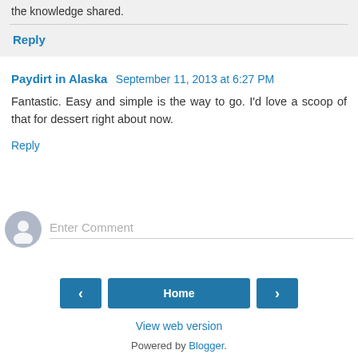the knowledge shared.
Reply
Paydirt in Alaska  September 11, 2013 at 6:27 PM
Fantastic. Easy and simple is the way to go. I’d love a scoop of that for dessert right about now.
Reply
Enter Comment
Home
View web version
Powered by Blogger.